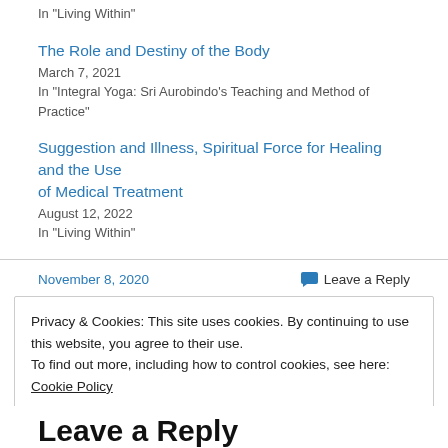In "Living Within"
The Role and Destiny of the Body
March 7, 2021
In "Integral Yoga: Sri Aurobindo's Teaching and Method of Practice"
Suggestion and Illness, Spiritual Force for Healing and the Use of Medical Treatment
August 12, 2022
In "Living Within"
November 8, 2020
Leave a Reply
Privacy & Cookies: This site uses cookies. By continuing to use this website, you agree to their use.
To find out more, including how to control cookies, see here: Cookie Policy
Close and accept
Leave a Reply